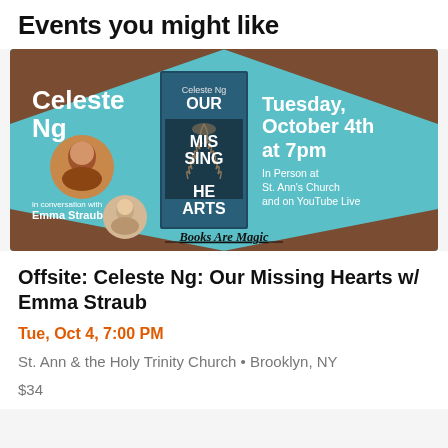Events you might like
[Figure (photo): Event banner for Celeste Ng 'Our Missing Hearts' book event with Emma Straub at Books Are Magic, Tuesday October 4th at 7pm, In Person at St. Ann's Church and on YouTube Live]
Offsite: Celeste Ng: Our Missing Hearts w/ Emma Straub
Tue, Oct 4, 7:00 PM
St. Ann & the Holy Trinity Church • Brooklyn, NY
$34